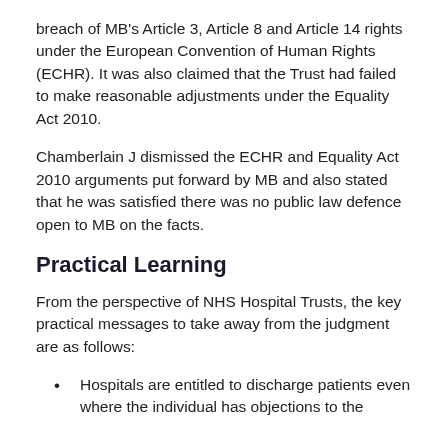breach of MB's Article 3, Article 8 and Article 14 rights under the European Convention of Human Rights (ECHR). It was also claimed that the Trust had failed to make reasonable adjustments under the Equality Act 2010.
Chamberlain J dismissed the ECHR and Equality Act 2010 arguments put forward by MB and also stated that he was satisfied there was no public law defence open to MB on the facts.
Practical Learning
From the perspective of NHS Hospital Trusts, the key practical messages to take away from the judgment are as follows:
Hospitals are entitled to discharge patients even where the individual has objections to the